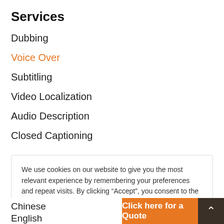Services
Dubbing
Voice Over
Subtitling
Video Localization
Audio Description
Closed Captioning
We use cookies on our website to give you the most relevant experience by remembering your preferences and repeat visits. By clicking “Accept”, you consent to the use of ALL the cookies.
Cookie settings  Read More  ACCEPT
Chinese
English
Click here for a Quote